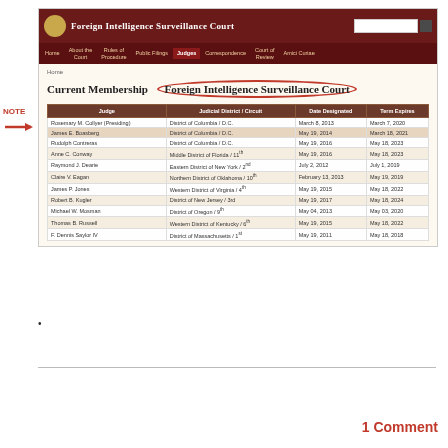[Figure (screenshot): Screenshot of the Foreign Intelligence Surveillance Court website showing Current Membership page with a table of judges, their judicial districts/circuits, dates designated, and term expiry dates. A red oval circles 'Foreign Intelligence Surveillance Court' in the heading. A red 'NOTE' label with arrow points to a highlighted row.]
•
1 Comment